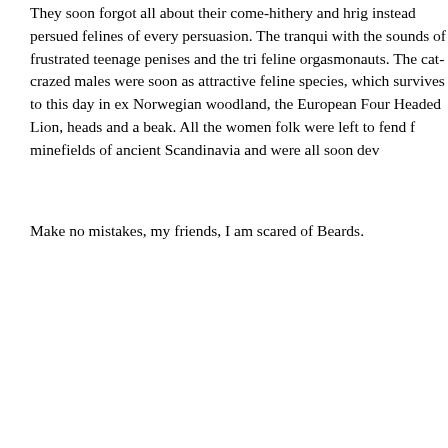They soon forgot all about their come-hithery and hrig instead persued felines of every persuasion. The tranqui with the sounds of frustrated teenage penises and the tri feline orgasmonauts. The cat-crazed males were soon as attractive feline species, which survives to this day in ex Norwegian woodland, the European Four Headed Lion, heads and a beak. All the women folk were left to fend f minefields of ancient Scandinavia and were all soon dev
Make no mistakes, my friends, I am scared of Beards.